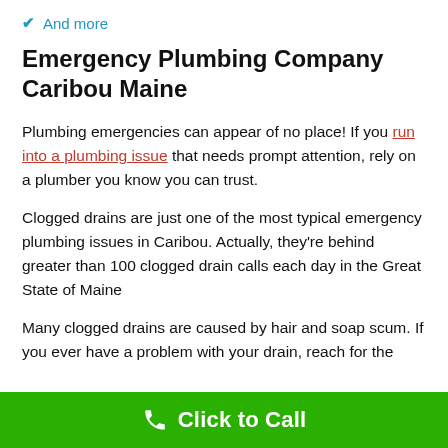And more
Emergency Plumbing Company Caribou Maine
Plumbing emergencies can appear of no place! If you run into a plumbing issue that needs prompt attention, rely on a plumber you know you can trust.
Clogged drains are just one of the most typical emergency plumbing issues in Caribou. Actually, they're behind greater than 100 clogged drain calls each day in the Great State of Maine
Many clogged drains are caused by hair and soap scum. If you ever have a problem with your drain, reach for the
Click to Call